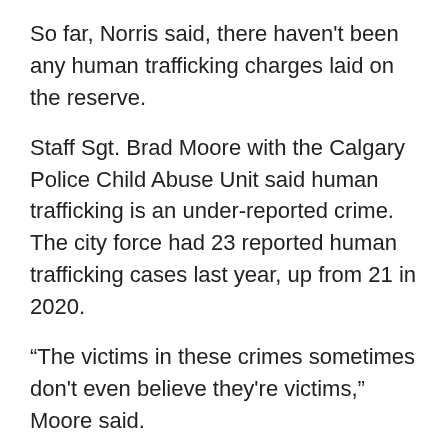So far, Norris said, there haven't been any human trafficking charges laid on the reserve.
Staff Sgt. Brad Moore with the Calgary Police Child Abuse Unit said human trafficking is an under-reported crime. The city force had 23 reported human trafficking cases last year, up from 21 in 2020.
“The victims in these crimes sometimes don't even believe they're victims,” Moore said.
“Some of them come from very troubled backgrounds, from living arrangements, and where they're going in their minds is sometimes better than where they came from.
“So how do you tell that person who feels better